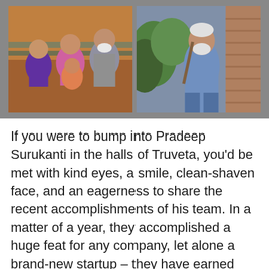[Figure (photo): Two side-by-side photographs. Left photo: A family group of three people including a boy in purple, a woman in pink saree, a girl in colorful outfit, and an older man with white beard in checkered shirt. Right photo: An older man with white beard wearing a blue polo shirt, standing outdoors near greenery and a brick wall.]
If you were to bump into Pradeep Surukanti in the halls of Truveta, you'd be met with kind eyes, a smile, clean-shaven face, and an eagerness to share the recent accomplishments of his team. In a matter of a year, they accomplished a huge feat for any company, let alone a brand-new startup – they have earned certification for three ISO standards (ISO 27001, ISO 27701, and ISO